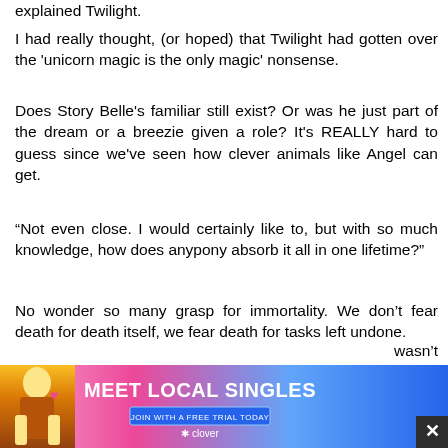explained Twilight.
I had really thought, (or hoped) that Twilight had gotten over the 'unicorn magic is the only magic' nonsense.
Does Story Belle's familiar still exist? Or was he just part of the dream or a breezie given a role? It's REALLY hard to guess since we've seen how clever animals like Angel can get.
“Not even close. I would certainly like to, but with so much knowledge, how does anypony absorb it all in one lifetime?”
No wonder so many grasp for immortality. We don’t fear death for death itself, we fear death for tasks left undone.
“She might be,” said Twilight, “but I’m still puzzled by the fact that grown-up have counterparts that are just children.”
wasn’t
[Figure (advertisement): Meet Local Singles advertisement banner with woman photo, pink/blue gradient background, Clover app branding]